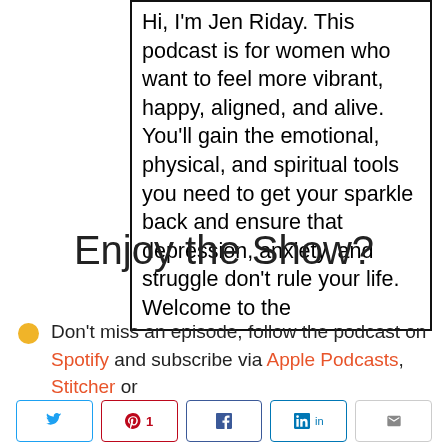Hi, I'm Jen Riday. This podcast is for women who want to feel more vibrant, happy, aligned, and alive. You'll gain the emotional, physical, and spiritual tools you need to get your sparkle back and ensure that depression, anxiety, and struggle don't rule your life. Welcome to the
Enjoy the Show?
Don't miss an episode, follow the podcast on Spotify and subscribe via Apple Podcasts, Stitcher or
[Figure (other): Social share buttons: Twitter, Pinterest (1), Facebook, LinkedIn, Email]